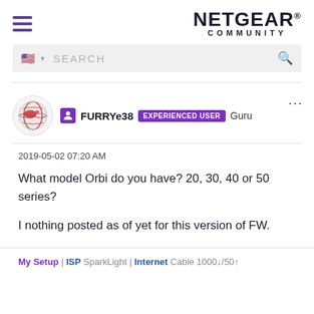[Figure (logo): NETGEAR COMMUNITY logo with hamburger menu icon on the left]
[Figure (screenshot): Search bar with US flag icon and magnifying glass]
[Figure (screenshot): User profile: globe avatar, FURRYe38 username, EXPERIENCED USER badge, Guru label, three-dot menu]
2019-05-02 07:20 AM
What model Orbi do you have? 20, 30, 40 or 50 series?
I nothing posted as of yet for this version of FW.
My Setup | ISP SparkLight | Internet Cable 1000↓/50↑